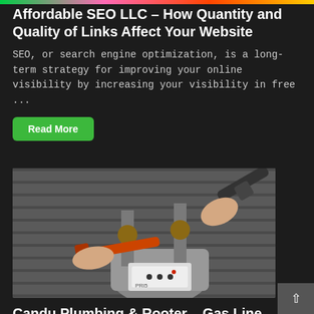Affordable SEO LLC – How Quantity and Quality of Links Affect Your Website
SEO, or search engine optimization, is a long-term strategy for improving your online visibility by increasing your visibility in free ...
Read More
[Figure (photo): Close-up photo of two hands using wrenches on a gas meter pipe fitting outdoors]
Candu Plumbing & Rooter – Gas Line Repair in Pasadena
In the event that your home needs gas line repair, you r unsure who to call. Candu Plumbing & ...